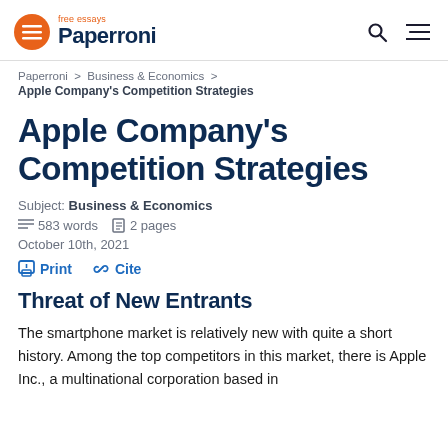free essays Paperroni
Paperroni > Business & Economics > Apple Company's Competition Strategies
Apple Company's Competition Strategies
Subject: Business & Economics
583 words  2 pages
October 10th, 2021
Print  Cite
Threat of New Entrants
The smartphone market is relatively new with quite a short history. Among the top competitors in this market, there is Apple Inc., a multinational corporation based in